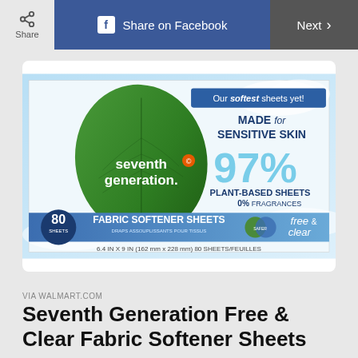Share | Share on Facebook | Next >
[Figure (photo): Seventh Generation Free & Clear Fabric Softener Sheets product box. Box shows a large green leaf with 'seventh generation.' text, blue band reading '80 SHEETS, FABRIC SOFTENER SHEETS', text 'Our softest sheets yet!', 'MADE for SENSITIVE SKIN', '97% PLANT-BASED SHEETS, 0% FRAGRANCES', 'free & clear'. Dimensions: 6.4 IN x 9 IN (162 mm x 228 mm) 80 SHEETS/FEUILLES.]
VIA WALMART.COM
Seventh Generation Free & Clear Fabric Softener Sheets